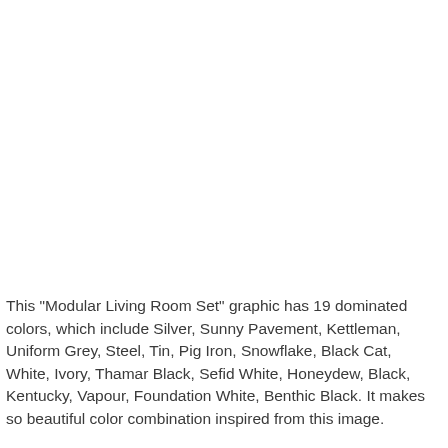This "Modular Living Room Set" graphic has 19 dominated colors, which include Silver, Sunny Pavement, Kettleman, Uniform Grey, Steel, Tin, Pig Iron, Snowflake, Black Cat, White, Ivory, Thamar Black, Sefid White, Honeydew, Black, Kentucky, Vapour, Foundation White, Benthic Black. It makes so beautiful color combination inspired from this image.